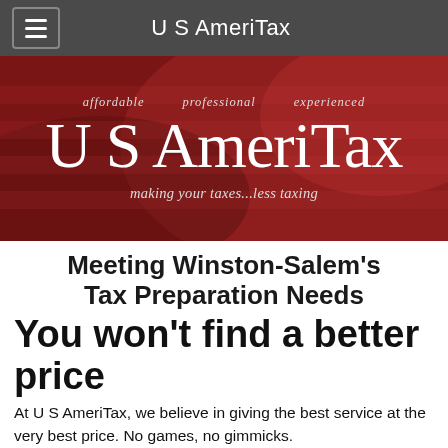U S AmeriTax
[Figure (logo): U S AmeriTax banner with American flag background. Text: affordable  professional  experienced. Large serif text: U S AmeriTax. Italic tagline: making your taxes...less taxing]
Meeting Winston-Salem's Tax Preparation Needs
You won't find a better price
At U S AmeriTax, we believe in giving the best service at the very best price. No games, no gimmicks.
We guarantee to beat all competitors prices by 10%.
Learn more by visiting our Services page.